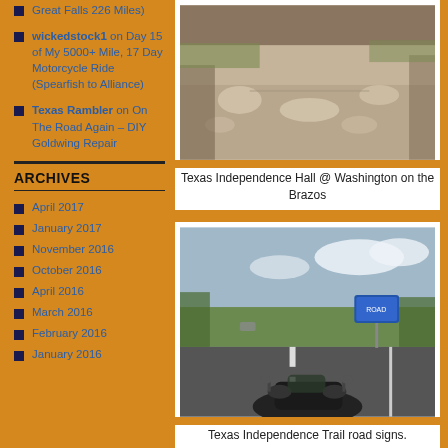Great Falls 226 Miles)
wickedstock1 on Day 15 of My 5000+ Mile, 17 Day Motorcycle Ride (Spearfish to Alliance)
Texas Rambler on On The Road Again – DIY Goldwing Repair
ARCHIVES
April 2017
January 2017
November 2016
October 2016
April 2016
March 2016
February 2016
January 2016
[Figure (photo): Photo of Texas Independence Hall at Washington on the Brazos, showing a shaded pathway with dappled light through trees]
Texas Independence Hall @ Washington on the Brazos
[Figure (photo): Photo taken from a motorcycle on a highway, showing the Texas Independence Trail road signs and open fields]
Texas Independence Trail road signs.